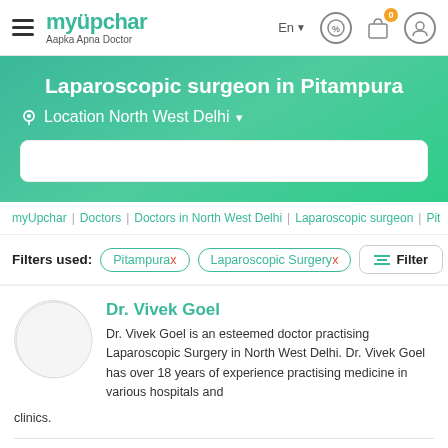myUpchar — Aapka Apna Doctor | En | header icons
Laparoscopic surgeon in Pitampura
Location North West Delhi
myUpchar | Doctors | Doctors in North West Delhi | Laparoscopic surgeon | Pit
Filters used: Pitampurax  Laparoscopic Surgeryx  Filter
Dr. Vivek Goel
Dr. Vivek Goel is an esteemed doctor practising Laparoscopic Surgery in North West Delhi. Dr. Vivek Goel has over 18 years of experience practising medicine in various hospitals and clinics.
Dr. Vivek Goel is known for excellence in Cancer Surgery, Laparoscopic